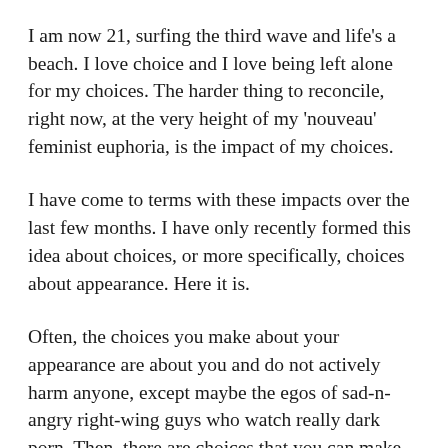I am now 21, surfing the third wave and life's a beach. I love choice and I love being left alone for my choices. The harder thing to reconcile, right now, at the very height of my 'nouveau' feminist euphoria, is the impact of my choices.
I have come to terms with these impacts over the last few months. I have only recently formed this idea about choices, or more specifically, choices about appearance. Here it is.
Often, the choices you make about your appearance are about you and do not actively harm anyone, except maybe the egos of sad-n-angry right-wing guys who watch really dark porn. Then, there are choices that you can make about your